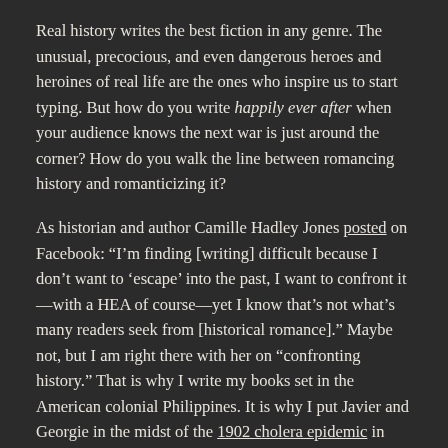Real history writes the best fiction in any genre. The unusual, precocious, and even dangerous heroes and heroines of real life are the ones who inspire us to start typing. But how do you write happily ever after when your audience knows the next war is just around the corner? How do you walk the line between romancing history and romanticizing it?
As historian and author Camille Hadley Jones posted on Facebook: “I’m finding [writing] difficult because I don’t want to ‘escape’ into the past, I want to confront it—with a HEA of course—yet I know that’s not what’s many readers seek from [historical romance].” Maybe not, but I am right there with her on “confronting history.” That is why I write my books set in the American colonial Philippines. It is why I put Javier and Georgie in the midst of the 1902 cholera epidemic in chapter one of Under the Sugar Sun.
Advice often given to authors is: “Don’t underestimate your reader.” Don’t gloss over their inconvenient, gritty truth just